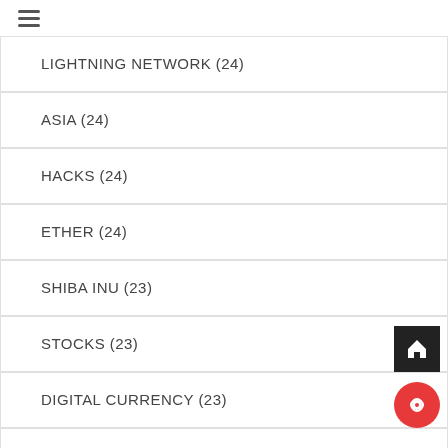≡
LIGHTNING NETWORK (24)
ASIA (24)
HACKS (24)
ETHER (24)
SHIBA INU (23)
STOCKS (23)
DIGITAL CURRENCY (23)
DECENTRALIZED EXCHANGE (23)